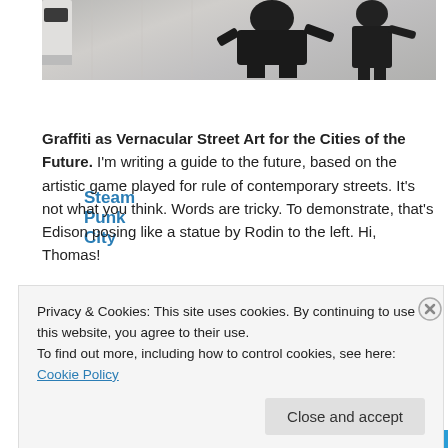[Figure (photo): Grayscale close-up photo of graffiti art showing a figure posing like a Rodin sculpture, black stencil on light textured wall]
Steam Punk City
Graffiti as Vernacular Street Art for the Cities of the Future. I'm writing a guide to the future, based on the artistic game played for rule of contemporary streets. It's not what you think. Words are tricky. To demonstrate, that's Edison posing like a statue by Rodin to the left. Hi, Thomas!
[Figure (photo): Partial photo of a snow-capped mountain under cloudy sky]
Privacy & Cookies: This site uses cookies. By continuing to use this website, you agree to their use.
To find out more, including how to control cookies, see here: Cookie Policy